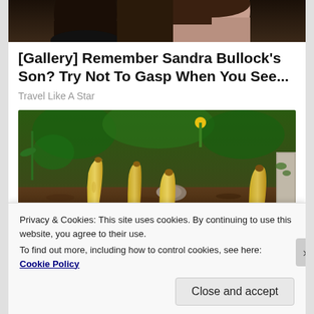[Figure (photo): Top portion of photo showing two people, partially cropped]
[Gallery] Remember Sandra Bullock's Son? Try Not To Gasp When You See...
Travel Like A Star
[Figure (photo): Garden photo showing bananas planted upright in soil with plants in background]
Privacy & Cookies: This site uses cookies. By continuing to use this website, you agree to their use.
To find out more, including how to control cookies, see here: Cookie Policy
Close and accept